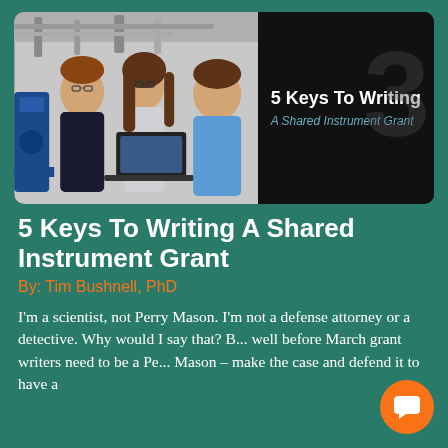[Figure (photo): A photo of three students or researchers gathered around a laptop in a lab/workshop setting, alongside a dark panel reading '5 Keys To Writing A Shared Instrument Grant']
5 Keys To Writing A Shared Instrument Grant
By: Tim Bushnell, PhD
I'm a scientist, not Perry Mason. I'm not a defense attorney or a detective. Why would I say that? B... well before March grant writers need to be a Pe... Mason – make the case and defend it to have a